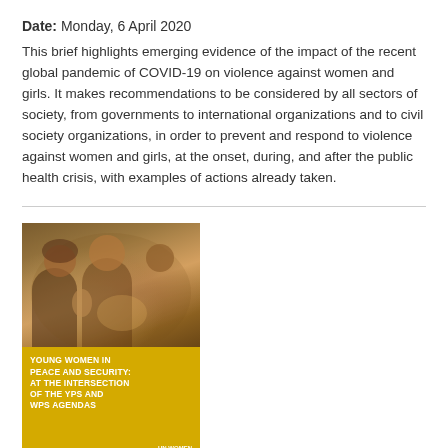Date: Monday, 6 April 2020
This brief highlights emerging evidence of the impact of the recent global pandemic of COVID-19 on violence against women and girls. It makes recommendations to be considered by all sectors of society, from governments to international organizations and to civil society organizations, in order to prevent and respond to violence against women and girls, at the onset, during, and after the public health crisis, with examples of actions already taken.
[Figure (photo): Book cover of 'Young Women in Peace and Security: At the Intersection of the YPS and WPS Agendas' showing women in the upper photo portion and yellow cover with white title text below.]
Young women in peace and security: At the intersection of the YPS and WPS agendas
Date: Sunday, 1 April 2018
Around the world, young women are working to prevent violent conflict, recover from crises, and build peaceful, tolerant communities, yet most peace and security interventions are blind to